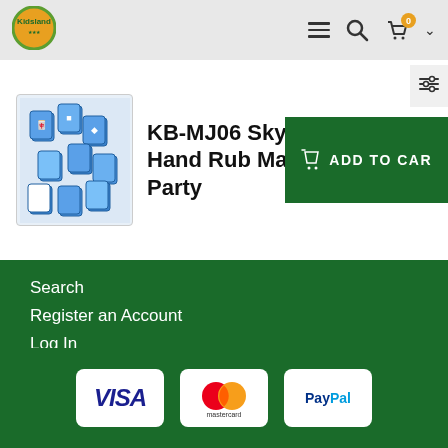[Figure (logo): Kideland brand logo — circular orange and green logo in website header]
[Figure (screenshot): E-commerce product listing page for KB-MJ06 Sky Blue Colour Hand Rub Mahjong For Party with Add to Cart button and footer navigation links including Search, Register an Account, Log In, Order History, View My Account, plus payment icons for Visa, Mastercard, PayPal]
KB-MJ06 Sky Blue Colour Hand Rub Mahjong For Party
Search
Register an Account
Log In
Order History
View My Account